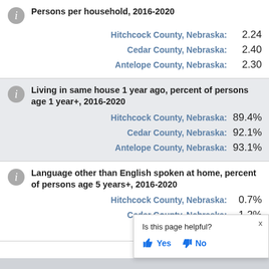Persons per household, 2016-2020
Hitchcock County, Nebraska: 2.24
Cedar County, Nebraska: 2.40
Antelope County, Nebraska: 2.30
Living in same house 1 year ago, percent of persons age 1 year+, 2016-2020
Hitchcock County, Nebraska: 89.4%
Cedar County, Nebraska: 92.1%
Antelope County, Nebraska: 93.1%
Language other than English spoken at home, percent of persons age 5 years+, 2016-2020
Hitchcock County, Nebraska: 0.7%
Cedar County, Nebraska: 1.2%
Antelope County, Nebraska: (partially visible)